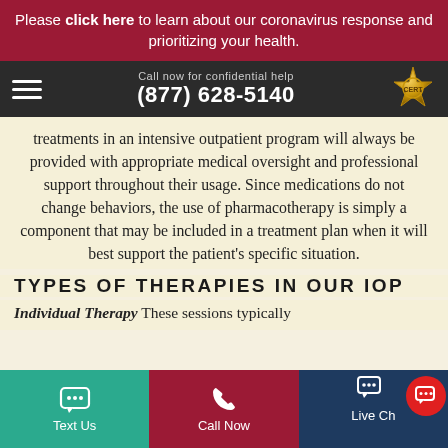Please click here to learn about our coronavirus response and prioritizing your health.
Call now for confidential help (877) 628-5140
treatments in an intensive outpatient program will always be provided with appropriate medical oversight and professional support throughout their usage. Since medications do not change behaviors, the use of pharmacotherapy is simply a component that may be included in a treatment plan when it will best support the patient's specific situation.
TYPES OF THERAPIES IN OUR IOP
Individual Therapy These sessions typically
Text Us   Call Now   Live Chat